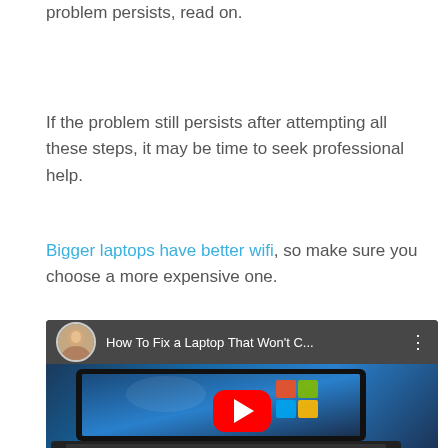problem persists, read on.
If the problem still persists after attempting all these steps, it may be time to seek professional help.
Bigger laptops have better wifi, so make sure you choose a more expensive one.
[Figure (screenshot): Embedded YouTube video thumbnail showing a laptop with Windows logo on screen and a red play button overlay. Video title reads 'How To Fix a Laptop That Won't C...' with a female presenter avatar in the top bar.]